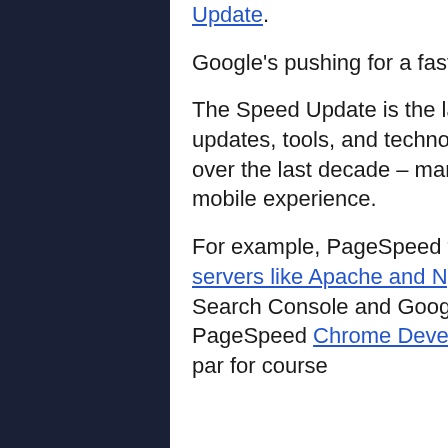Update. Google's pushing for a faster mobile experience The Speed Update is the latest in a long list of speed-related updates, tools, and technologies that Google has developed over the last decade – many of which specifically target the mobile experience. For example, PageSpeed tools, such as the modules for servers like Apache and Nginx, PageSpeed reports in Google Search Console and Google Analytics, and plugins like the PageSpeed Chrome Developer Tools extension have become par for course